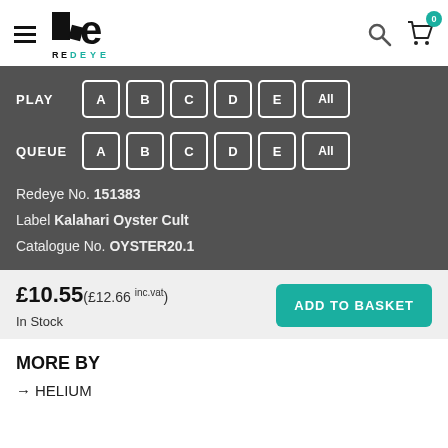Redeye — navigation header with logo, search, and cart
PLAY A B C D E All
QUEUE A B C D E All
Redeye No. 151383
Label Kalahari Oyster Cult
Catalogue No. OYSTER20.1
£10.55 (£12.66 inc.vat)
In Stock
MORE BY
→ HELIUM